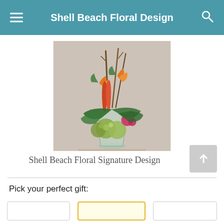Shell Beach Floral Design
[Figure (photo): A tall floral arrangement in a glass vase featuring bird of paradise flowers, orange snapdragons, green hydrangeas, pink flowers, and tropical greenery with tall dried branches, displayed against a neutral background.]
Shell Beach Floral Signature Design
Pick your perfect gift: